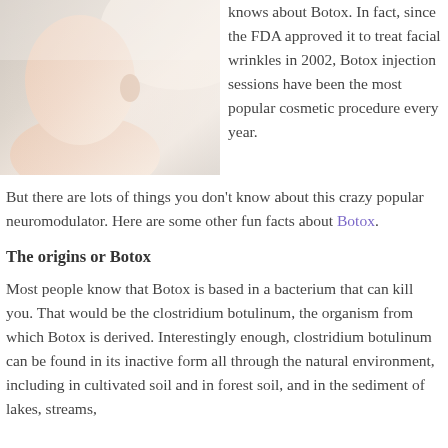[Figure (photo): A close-up photo of a person's face and neck resting, soft skin tones, light background, profile/side view]
knows about Botox. In fact, since the FDA approved it to treat facial wrinkles in 2002, Botox injection sessions have been the most popular cosmetic procedure every year.
But there are lots of things you don't know about this crazy popular neuromodulator. Here are some other fun facts about Botox.
The origins or Botox
Most people know that Botox is based in a bacterium that can kill you. That would be the clostridium botulinum, the organism from which Botox is derived. Interestingly enough, clostridium botulinum can be found in its inactive form all through the natural environment, including in cultivated soil and in forest soil, and in the sediment of lakes, streams,